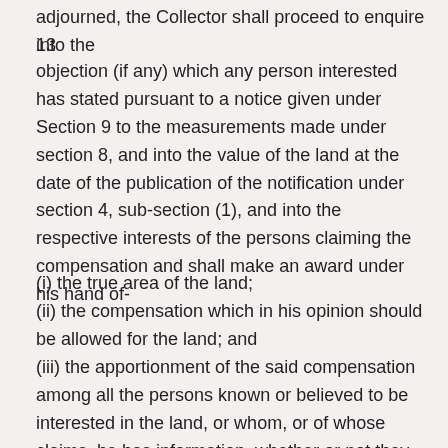adjourned, the Collector shall proceed to enquire into the
13
objection (if any) which any person interested has stated pursuant to a notice given under Section 9 to the measurements made under section 8, and into the value of the land at the date of the publication of the notification under section 4, sub-section (1), and into the respective interests of the persons claiming the compensation and shall make an award under his hand of-
(i) the true area of the land;
(ii) the compensation which in his opinion should be allowed for the land; and
(iii) the apportionment of the said compensation among all the persons known or believed to be interested in the land, or whom, or of whose claims, he has information, whether or not they have respectively appeared before him:
Provided that no award shall be made by the Collector under this sub-section without the previous approval of the